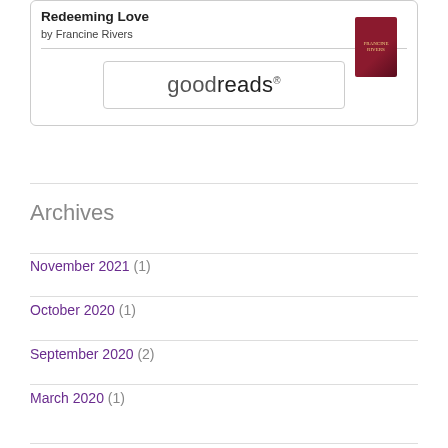Redeeming Love
by Francine Rivers
[Figure (logo): Goodreads button/widget logo showing the word 'goodreads' in a rounded rectangle border]
[Figure (photo): Book cover of Redeeming Love by Francine Rivers — dark red cover with figure in a dress]
Archives
November 2021 (1)
October 2020 (1)
September 2020 (2)
March 2020 (1)